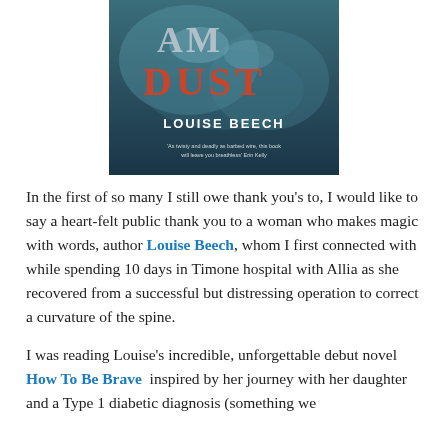[Figure (photo): Book cover of 'I Am Dust' by Louise Beech — dark blue/teal atmospheric cover with partial text visible: 'AM DUST' in orange/red letters, 'LOUISE BEECH' in white, and a small quote at the bottom.]
In the first of so many I still owe thank you's to, I would like to say a heart-felt public thank you to a woman who makes magic with words, author Louise Beech, whom I first connected with while spending 10 days in Timone hospital with Allia as she recovered from a successful but distressing operation to correct a curvature of the spine.
I was reading Louise's incredible, unforgettable debut novel How To Be Brave  inspired by her journey with her daughter and a Type 1 diabetic diagnosis (something we